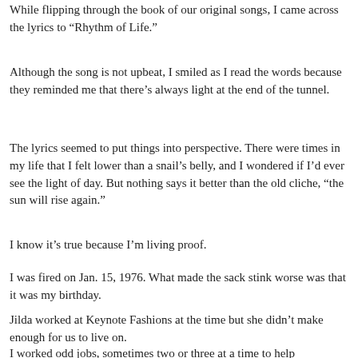While flipping through the book of our original songs, I came across the lyrics to “Rhythm of Life.”
Although the song is not upbeat, I smiled as I read the words because they reminded me that there’s always light at the end of the tunnel.
The lyrics seemed to put things into perspective. There were times in my life that I felt lower than a snail’s belly, and I wondered if I’d ever see the light of day. But nothing says it better than the old cliche, “the sun will rise again.”
I know it’s true because I’m living proof.
I was fired on Jan. 15, 1976. What made the sack stink worse was that it was my birthday.
Jilda worked at Keynote Fashions at the time but she didn’t make enough for us to live on.
I worked odd jobs, sometimes two or three at a time to help